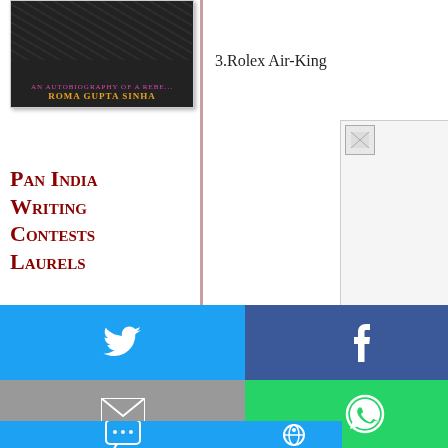[Figure (photo): Book cover - An Autobiography of a Rebel by Roma Gupta Sinha, dark background with author name in orange]
Pan India Writing Contests Laurels
[Figure (photo): Cleartrip advertisement with logo and travel images]
3.Rolex Air-King
[Figure (photo): Broken/loading image placeholder on right side]
conque... with th... Rolex A...
[Figure (infographic): Social share buttons: Twitter (blue), Facebook (dark blue), Email (gray), WhatsApp (green), SMS (blue), other share button (blue)]